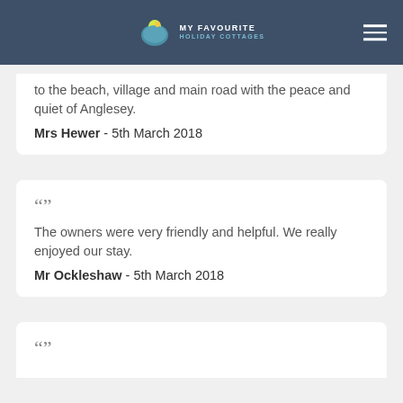MY FAVOURITE HOLIDAY COTTAGES
to the beach, village and main road with the peace and quiet of Anglesey.
Mrs Hewer  -  5th March 2018
“”
The owners were very friendly and helpful. We really enjoyed our stay.
Mr Ockleshaw  -  5th March 2018
“”